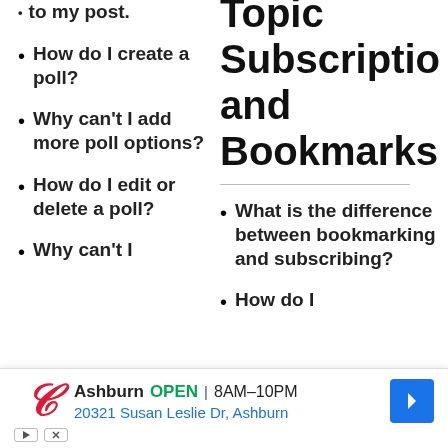to my post.
Topic Subscription and Bookmarks
How do I create a poll?
Why can't I add more poll options?
How do I edit or delete a poll?
What is the difference between bookmarking and subscribing?
How do I
Why can't I
[Figure (infographic): Walgreens advertisement banner showing store location: Ashburn, OPEN, 8AM-10PM, 20321 Susan Leslie Dr, Ashburn]